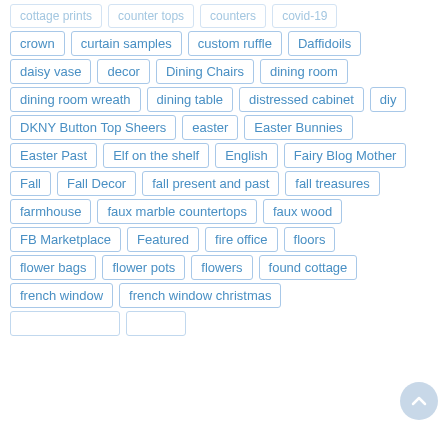cottage prints, counter tops, counters, covid-19, crown, curtain samples, custom ruffle, Daffidoils, daisy vase, decor, Dining Chairs, dining room, dining room wreath, dining table, distressed cabinet, diy, DKNY Button Top Sheers, easter, Easter Bunnies, Easter Past, Elf on the shelf, English, Fairy Blog Mother, Fall, Fall Decor, fall present and past, fall treasures, farmhouse, faux marble countertops, faux wood, FB Marketplace, Featured, fire office, floors, flower bags, flower pots, flowers, found cottage, french window, french window christmas